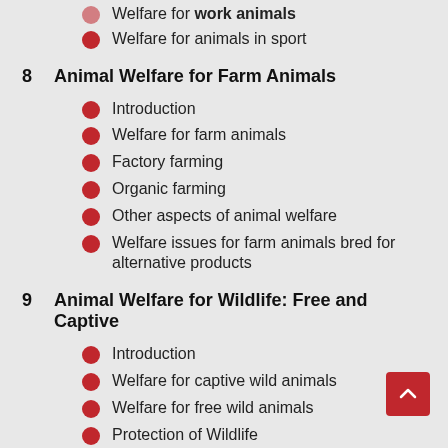Welfare for work animals
Welfare for animals in sport
8  Animal Welfare for Farm Animals
Introduction
Welfare for farm animals
Factory farming
Organic farming
Other aspects of animal welfare
Welfare issues for farm animals bred for alternative products
9  Animal Welfare for Wildlife: Free and Captive
Introduction
Welfare for captive wild animals
Welfare for free wild animals
Protection of Wildlife